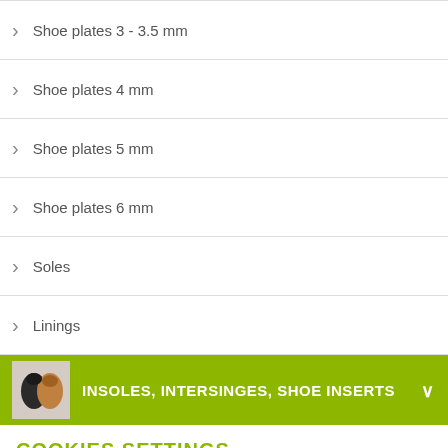Shoe plates 3 - 3.5 mm
Shoe plates 4 mm
Shoe plates 5 mm
Shoe plates 6 mm
Soles
Linings
[Figure (screenshot): Green banner with product image and text INSOLES, INTERSINGES, SHOE INSERTS]
COOKIES SETTINGS
ALLOW ALL
SETTINGS
REJECT ALL